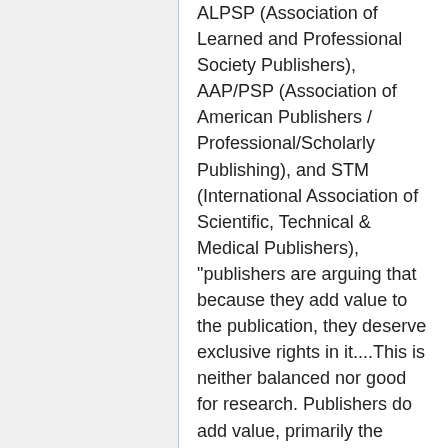ALPSP (Association of Learned and Professional Society Publishers), AAP/PSP (Association of American Publishers / Professional/Scholarly Publishing), and STM (International Association of Scientific, Technical & Medical Publishers), "publishers are arguing that because they add value to the publication, they deserve exclusive rights in it....This is neither balanced nor good for research. Publishers do add value, primarily the organization of expert volunteers who provide peer review. But no matter how many other forms of publisher-added value we